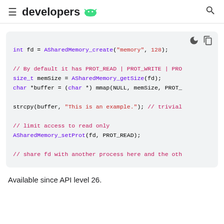developers
[Figure (screenshot): Code block showing Android shared memory C API usage: ASharedMemory_create, ASharedMemory_getSize, mmap, strcpy, ASharedMemory_setProt, with comments]
Available since API level 26.